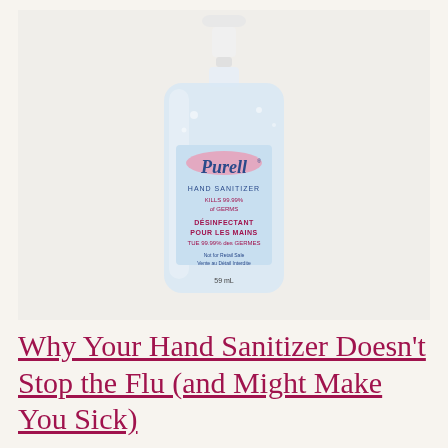[Figure (photo): A small Purell Hand Sanitizer bottle (59 mL) with a white flip-top cap. The label reads: Purell Hand Sanitizer, Kills 99.99% of Germs, Désinfectant Pour Les Mains, Tue 99.99% des Germes, Not for Retail Sale / Vente au Détail Interdite, 59 mL.]
Why Your Hand Sanitizer Doesn't Stop the Flu (and Might Make You Sick)